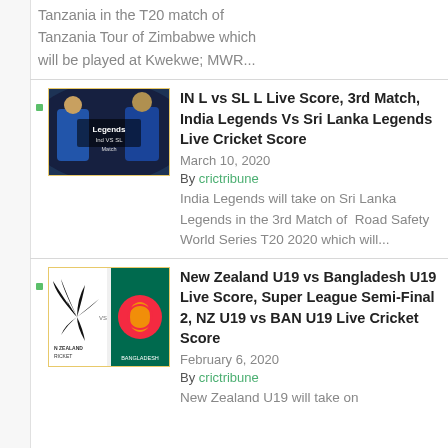Tanzania in the T20 match of Tanzania Tour of Zimbabwe which will be played at Kwekwe; MWR...
[Figure (photo): Two cricket players in blue jerseys, Legends T20 match graphic]
IN L vs SL L Live Score, 3rd Match, India Legends Vs Sri Lanka Legends Live Cricket Score
March 10, 2020
By crictribune
India Legends will take on Sri Lanka Legends in the 3rd Match of  Road Safety World Series T20 2020 which will...
[Figure (photo): New Zealand vs Bangladesh U19 cricket team logos]
New Zealand U19 vs Bangladesh U19 Live Score, Super League Semi-Final 2, NZ U19 vs BAN U19 Live Cricket Score
February 6, 2020
By crictribune
New Zealand U19 will take on